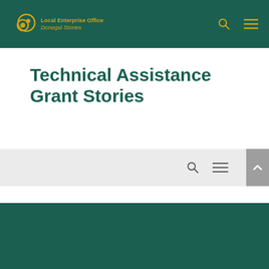Local Enterprise Office Donegal Stories
Technical Assistance Grant Stories
[Figure (screenshot): Secondary navigation bar with search and menu icons, plus a grey back-to-top button with upward chevron]
[Figure (other): Dark teal/green card block at the bottom of the page]